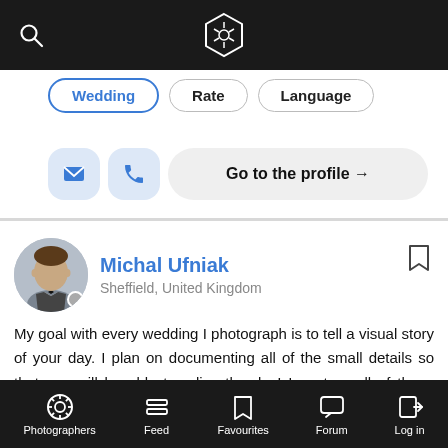App header with search icon and logo
Wedding (active filter button)
Rate
Language
Go to the profile →
Michal Ufniak
Sheffield, United Kingdom
My goal with every wedding I photograph is to tell a visual story of your day. I plan on documenting all of the small details so that you will be able to relive the day! I capture all of those precious candid moments - from nervous glances and happy tears to dancing the night away.
Photographers  Feed  Favourites  Forum  Log in